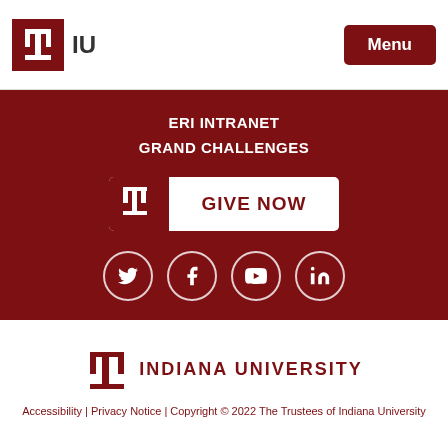IU | Menu
ERI INTRANET
GRAND CHALLENGES
[Figure (logo): Give Now button with IU logo on dark red background]
[Figure (infographic): Social media icons: Twitter, Facebook, YouTube, LinkedIn — white circle outlines on dark red background]
[Figure (logo): Indiana University logo with torch symbol and text INDIANA UNIVERSITY in dark red]
Accessibility | Privacy Notice | Copyright © 2022 The Trustees of Indiana University